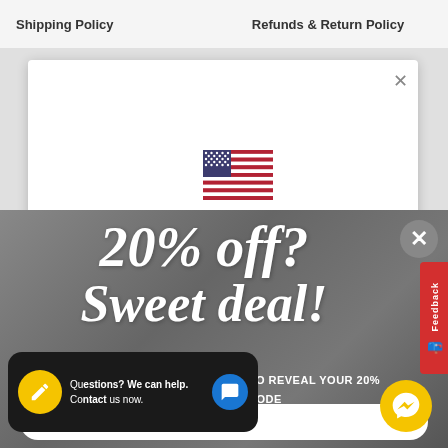Shipping Policy    Refunds & Return Policy
[Figure (screenshot): White modal dialog box with an X close button and a US flag icon in the center]
[Figure (infographic): Dark overlay popup with cursive text '20% off? Sweet deal!' and subtitle 'ENTER YOUR EMAIL ADDRESS TO REVEAL YOUR 20% OFF COUPON CODE', email input bar, close button, feedback tab, chat widget and Messenger button]
20% off? Sweet deal!
ENTER YOUR EMAIL ADDRESS TO REVEAL YOUR 20% OFF COUPON CODE
Questions? We can help. Contact us now.